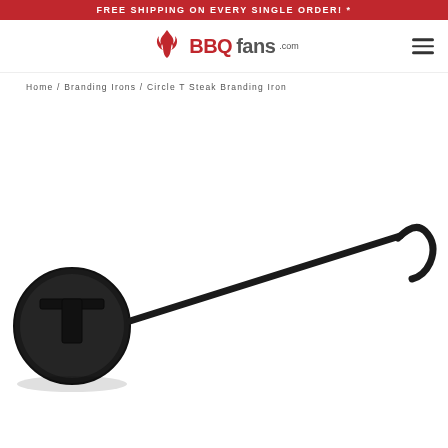FREE SHIPPING ON EVERY SINGLE ORDER! *
[Figure (logo): BBQfans.com logo with flame icon above BBQ text]
Home / Branding Irons / Circle T Steak Branding Iron
[Figure (photo): Circle T Steak Branding Iron — a long metal rod with a circle-T brand head on one end and a hook on the other end, dark/black finish, on white background]